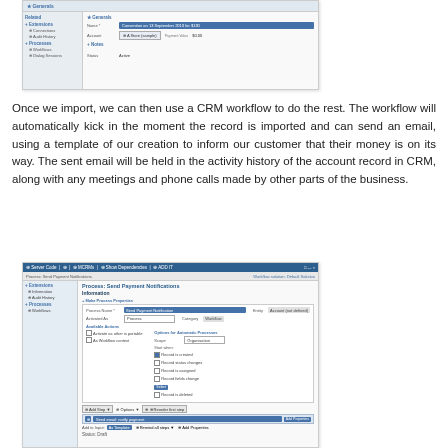[Figure (screenshot): CRM form screenshot showing a Convention record with fields for Name (highlighted in blue), Account, Payment Value ($0.00), Notes section, and Status set to Active. Left sidebar shows Related, Extensions (Connections, Audit History), and Processes (Workflows, Dialog Sessions).]
Once we import, we can then use a CRM workflow to do the rest. The workflow will automatically kick in the moment the record is imported and can send an email, using a template of our creation to inform our customer that their money is on its way. The sent email will be held in the activity history of the account record in CRM, along with any meetings and phone calls made by other parts of the business.
[Figure (screenshot): CRM Workflow editor screenshot showing 'Workflow: Send Payment Notification' with 'Information' panel open. Left sidebar shows Extensions (Information, Audit History) and Processes (Workflows). Main panel shows workflow properties: Process Name, Activated As, Available Actions (Activate as other/As workflow), Options for Automatic Processes with checkboxes. A step row shows 'Send email notify payment' action. Status: Draft shown at bottom.]